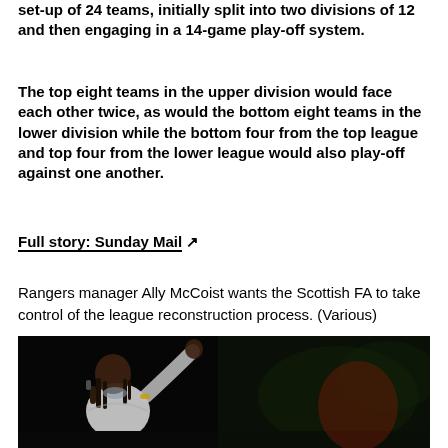set-up of 24 teams, initially split into two divisions of 12 and then engaging in a 14-game play-off system.
The top eight teams in the upper division would face each other twice, as would the bottom eight teams in the lower division while the bottom four from the top league and top four from the lower league would also play-off against one another.
Full story: Sunday Mail ↗
Rangers manager Ally McCoist wants the Scottish FA to take control of the league reconstruction process. (Various)
[Figure (photo): A performer on stage, likely a rapper, singing into a microphone with one arm raised, wearing a white shirt, with a dark background and some green lighting visible.]